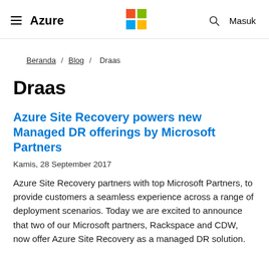≡ Azure  [Microsoft Logo]  🔍 Masuk
Beranda / Blog / Draas
Draas
Azure Site Recovery powers new Managed DR offerings by Microsoft Partners
Kamis, 28 September 2017
Azure Site Recovery partners with top Microsoft Partners, to provide customers a seamless experience across a range of deployment scenarios. Today we are excited to announce that two of our Microsoft partners, Rackspace and CDW, now offer Azure Site Recovery as a managed DR solution.
More info